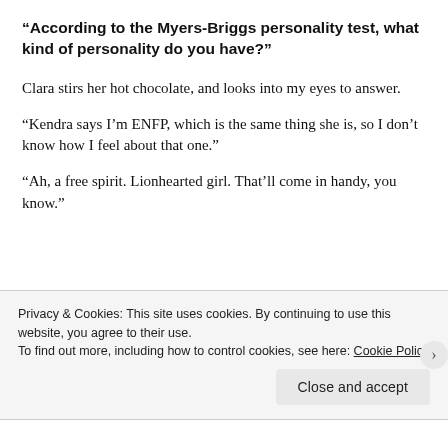“According to the Myers-Briggs personality test, what kind of personality do you have?”
Clara stirs her hot chocolate, and looks into my eyes to answer.
“Kendra says I’m ENFP, which is the same thing she is, so I don’t know how I feel about that one.”
“Ah, a free spirit. Lionhearted girl. That’ll come in handy, you know.”
Privacy & Cookies: This site uses cookies. By continuing to use this website, you agree to their use.
To find out more, including how to control cookies, see here: Cookie Policy